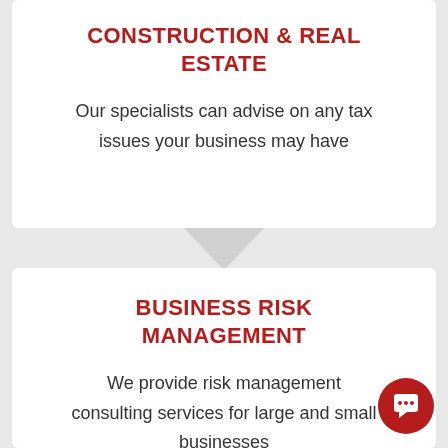CONSTRUCTION & REAL ESTATE
Our specialists can advise on any tax issues your business may have
BUSINESS RISK MANAGEMENT
We provide risk management consulting services for large and small businesses